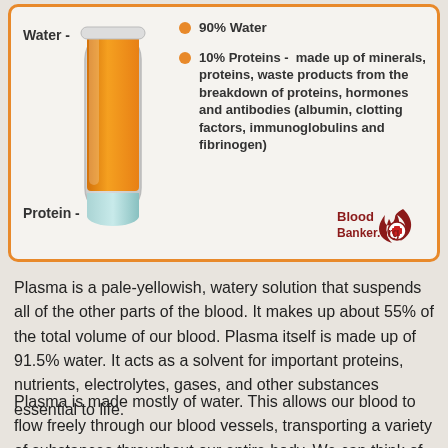[Figure (infographic): Infographic showing a test tube with orange liquid (water portion) and small blue liquid at bottom (protein portion), with labels 'Water -' and 'Protein -'. Bullet points list: 90% Water; 10% Proteins - made up of minerals, proteins, waste products from the breakdown of proteins, hormones and antibodies (albumin, clotting factors, immunoglobulins and fibrinogen). BloodBanker.org logo at bottom right.]
Plasma is a pale-yellowish, watery solution that suspends all of the other parts of the blood. It makes up about 55% of the total volume of our blood. Plasma itself is made up of 91.5% water. It acts as a solvent for important proteins, nutrients, electrolytes, gases, and other substances essential to life.
Plasma is made mostly of water. This allows our blood to flow freely through our blood vessels, transporting a variety of substances throughout our entire body. We can think of